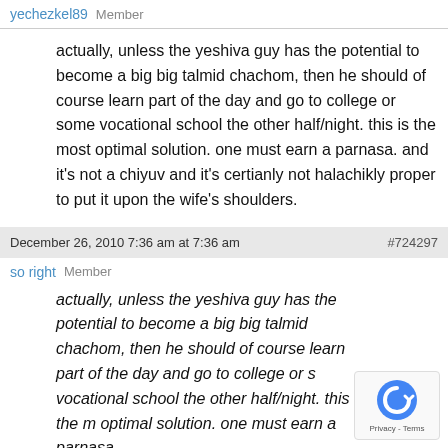yechezkel89 · Member
actually, unless the yeshiva guy has the potential to become a big big talmid chachom, then he should of course learn part of the day and go to college or some vocational school the other half/night. this is the most optimal solution. one must earn a parnasa. and it's not a chiyuv and it's certianly not halachikly proper to put it upon the wife's shoulders.
December 26, 2010 7:36 am at 7:36 am   #724297
so right · Member
actually, unless the yeshiva guy has the potential to become a big big talmid chachom, then he should of course learn part of the day and go to college or s... vocational school the other half/night. this is the m... optimal solution. one must earn a parnasa.